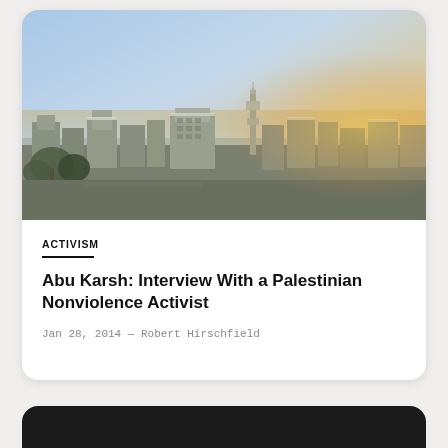[Figure (photo): Aerial panoramic view of a Middle Eastern city at sunset/dusk, with a mosque minaret visible, dense low-rise buildings spread across the horizon, warm orange-yellow sky on the right, blue sky on the left.]
ACTIVISM
Abu Karsh: Interview With a Palestinian Nonviolence Activist
Jan 28, 2014 — Robert Hirschfield